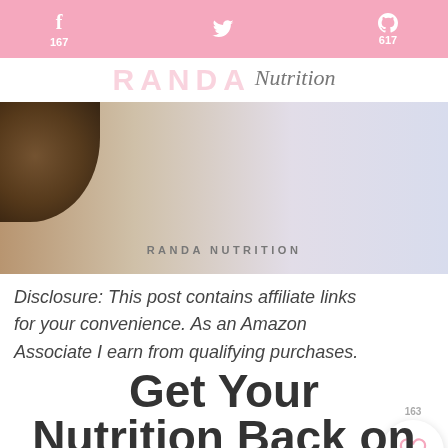f 167  [twitter] 617
[Figure (logo): RANDA Nutrition logo with script overlay]
[Figure (photo): Food/nutrition photo with RANDA NUTRITION text watermark]
Disclosure: This post contains affiliate links for your convenience. As an Amazon Associate I earn from qualifying purchases.
Get Your Nutrition Back on Track in 3 Days